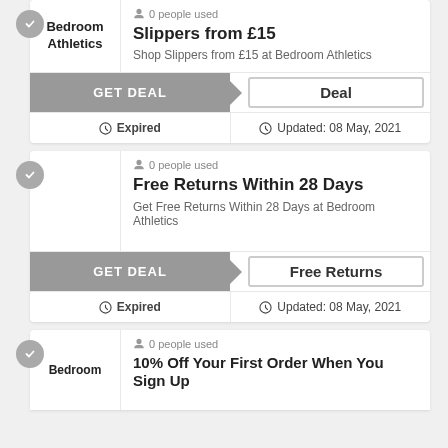[Figure (screenshot): Partial coupon card for Bedroom Athletics: Slippers from £15 deal with GET DEAL button, Expired status, Updated 08 May 2021]
0 people used
Slippers from £15
Shop Slippers from £15 at Bedroom Athletics
Expired
Updated: 08 May, 2021
0 people used
Free Returns Within 28 Days
Get Free Returns Within 28 Days at Bedroom Athletics
Expired
Updated: 08 May, 2021
0 people used
10% Off Your First Order When You Sign Up